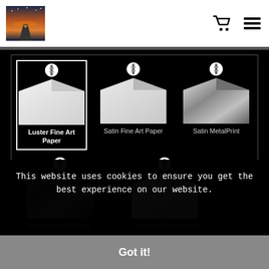[Figure (screenshot): Website header with photo thumbnail on left and cart/menu icons on right]
[Figure (infographic): Media type selector grid with 5 options: Luster Fine Art Paper (selected), Satin Fine Art Paper, Satin MetalPrint, High Gloss MetalPrint, 1/8 inch Non-Glare Acrylic. Each option shows a radio button and envelope-style thumbnail.]
Size
This website uses cookies to ensure you get the best experience on our website.
Got it!